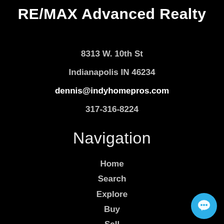RE/MAX Advanced Realty
8313 W. 10th St
Indianapolis IN 46234
dennis@indyhomepros.com
317-316-8224
Navigation
Home
Search
Explore
Buy
Sell
About Us
Careers
Contact